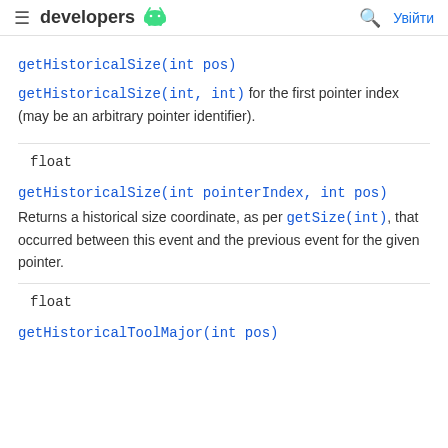≡ developers 🤖   🔍 Увійти
getHistoricalSize(int pos)
getHistoricalSize(int, int) for the first pointer index (may be an arbitrary pointer identifier).
float
getHistoricalSize(int pointerIndex, int pos)
Returns a historical size coordinate, as per getSize(int), that occurred between this event and the previous event for the given pointer.
float
getHistoricalToolMajor(int pos)